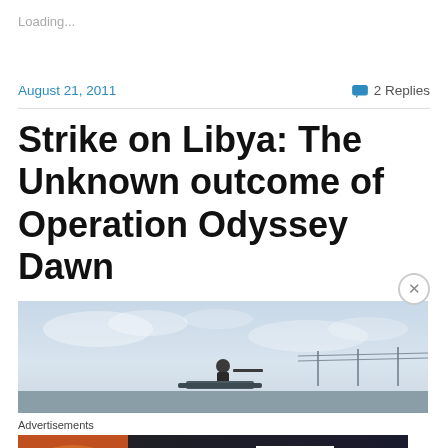Loading...
August 21, 2011
2 Replies
Strike on Libya: The Unknown outcome of Operation Odyssey Dawn
[Figure (photo): A person silhouetted against a cloudy sky, sitting on a vehicle with a weapon mounted, set against a flat horizon with power lines]
Advertisements
[Figure (photo): Seamless food delivery advertisement banner showing pizza and 'ORDER NOW' text]